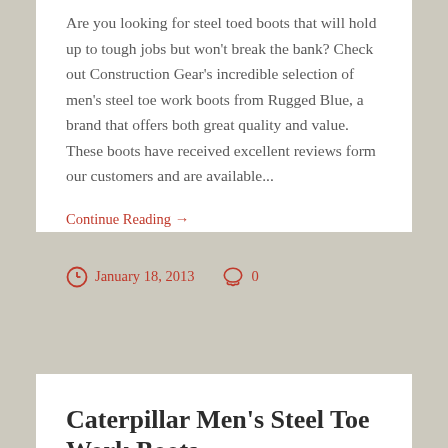Are you looking for steel toed boots that will hold up to tough jobs but won't break the bank? Check out Construction Gear's incredible selection of men's steel toe work boots from Rugged Blue, a brand that offers both great quality and value. These boots have received excellent reviews form our customers and are available...
Continue Reading →
January 18, 2013   0
Caterpillar Men's Steel Toe Work Boots